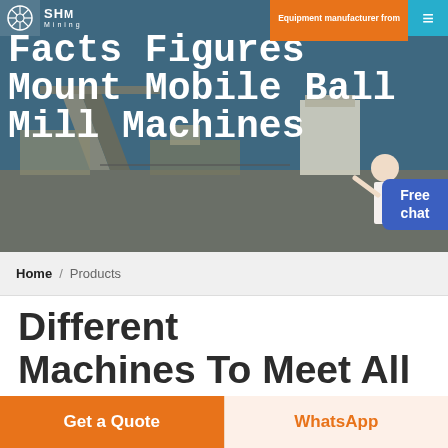SHM Mining
Facts Figures Mount Mobile Ball Mill Machines
[Figure (photo): Aerial view of a mining site with conveyors, crushers, and industrial equipment under a blue sky. A female customer service representative stands on the right side of the image.]
Free chat
Home / Products
Different Machines To Meet All
Get a Quote
WhatsApp